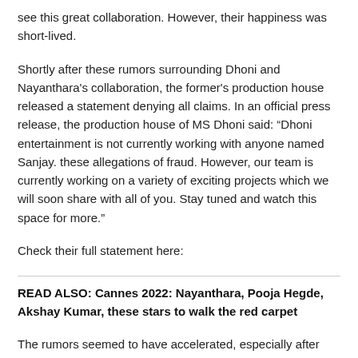see this great collaboration. However, their happiness was short-lived.
Shortly after these rumors surrounding Dhoni and Nayanthara's collaboration, the former's production house released a statement denying all claims. In an official press release, the production house of MS Dhoni said: “Dhoni entertainment is not currently working with anyone named Sanjay. these allegations of fraud. However, our team is currently working on a variety of exciting projects which we will soon share with all of you. Stay tuned and watch this space for more.”
Check their full statement here:
READ ALSO: Cannes 2022: Nayanthara, Pooja Hegde, Akshay Kumar, these stars to walk the red carpet
The rumors seemed to have accelerated, especially after Nayanthara’s filmmaker fiancé Vignesh Shivan was seen in a TV